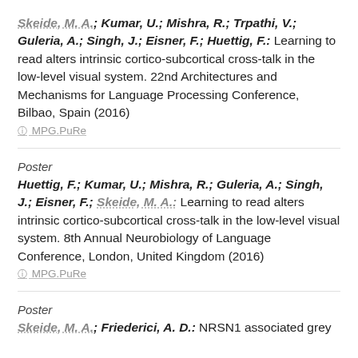Skeide, M. A.; Kumar, U.; Mishra, R.; Trpathi, V.; Guleria, A.; Singh, J.; Eisner, F.; Huettig, F.: Learning to read alters intrinsic cortico-subcortical cross-talk in the low-level visual system. 22nd Architectures and Mechanisms for Language Processing Conference, Bilbao, Spain (2016)
MPG.PuRe
Poster
Huettig, F.; Kumar, U.; Mishra, R.; Guleria, A.; Singh, J.; Eisner, F.; Skeide, M. A.: Learning to read alters intrinsic cortico-subcortical cross-talk in the low-level visual system. 8th Annual Neurobiology of Language Conference, London, United Kingdom (2016)
MPG.PuRe
Poster
Skeide, M. A.; Friederici, A. D.: NRSN1 associated grey matter...